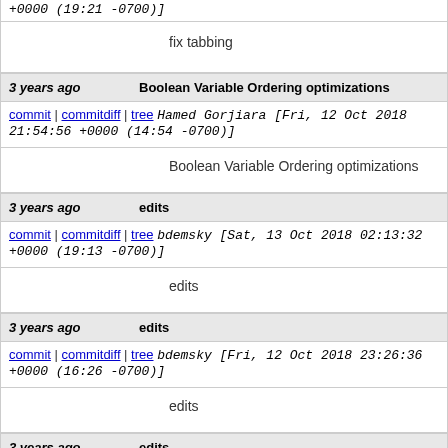+0000 (19:21 -0700)]
fix tabbing
3 years ago	Boolean Variable Ordering optimizations
commit | commitdiff | tree	Hamed Gorjiara [Fri, 12 Oct 2018 21:54:56 +0000 (14:54 -0700)]
Boolean Variable Ordering optimizations
3 years ago	edits
commit | commitdiff | tree	bdemsky [Sat, 13 Oct 2018 02:13:32 +0000 (19:13 -0700)]
edits
3 years ago	edits
commit | commitdiff | tree	bdemsky [Fri, 12 Oct 2018 23:26:36 +0000 (16:26 -0700)]
edits
3 years ago	edits
commit | commitdiff | tree	bdemsky [Fri, 12 Oct 2018 23:15:06